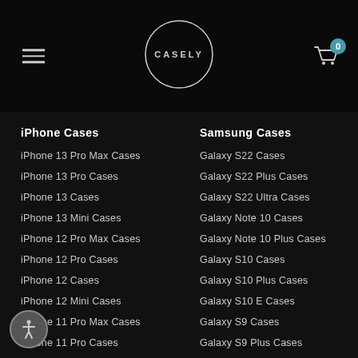[Figure (logo): Casely brand logo — white circle with CASELY text inside]
iPhone Cases
Samsung Cases
iPhone 13 Pro Max Cases
Galaxy S22 Cases
iPhone 13 Pro Cases
Galaxy S22 Plus Cases
iPhone 13 Cases
Galaxy S22 Ultra Cases
iPhone 13 Mini Cases
Galaxy Note 10 Cases
iPhone 12 Pro Max Cases
Galaxy Note 10 Plus Cases
iPhone 12 Pro Cases
Galaxy S10 Cases
iPhone 12 Cases
Galaxy S10 Plus Cases
iPhone 12 Mini Cases
Galaxy S10 E Cases
iPhone 11 Pro Max Cases
Galaxy S9 Cases
iPhone 11 Pro Cases
Galaxy S9 Plus Cases
iPhone 11 Cases